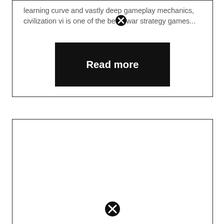learning curve and vastly deep gameplay mechanics, civilization vi is one of the best war strategy games...
Read more
[Figure (other): Empty white card with a close (X) icon at the bottom center]